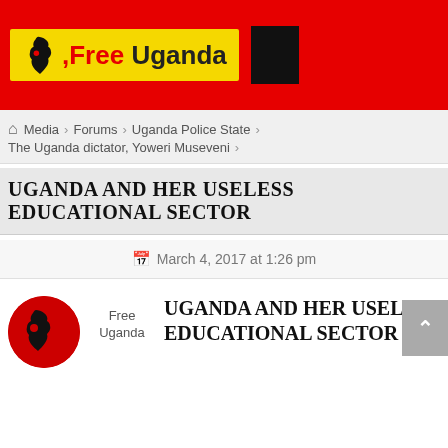[Figure (logo): Free Uganda logo on red background header bar with yellow Africa-shaped badge and black box]
🏠 Media › Forums › Uganda Police State › The Uganda dictator, Yoweri Museveni ›
UGANDA AND HER USELESS EDUCATIONAL SECTOR
March 4, 2017 at 1:26 pm
[Figure (logo): Free Uganda circular logo with Africa silhouette on red circle]
Free Uganda
UGANDA AND HER USELESS EDUCATIONAL SECTOR